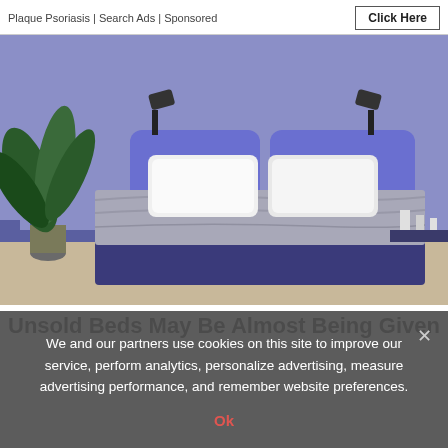Plaque Psoriasis | Search Ads | Sponsored
[Figure (photo): A stylish bedroom with purple/lavender walls, a purple upholstered bed with white pillows and light grey bedding, wall-mounted black reading lamps, and a tropical plant on the left.]
Unsold Beds May Be Almost Being Given
We and our partners use cookies on this site to improve our service, perform analytics, personalize advertising, measure advertising performance, and remember website preferences.
Ok